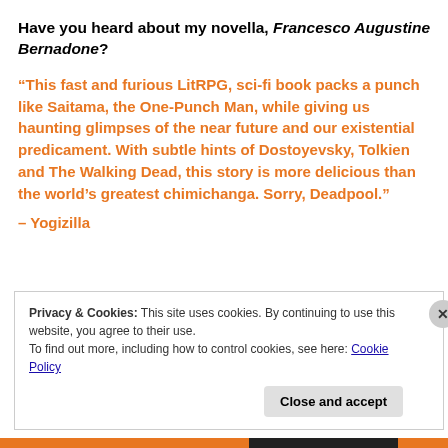Have you heard about my novella, Francesco Augustine Bernadone?
“This fast and furious LitRPG, sci-fi book packs a punch like Saitama, the One-Punch Man, while giving us haunting glimpses of the near future and our existential predicament. With subtle hints of Dostoyevsky, Tolkien and The Walking Dead, this story is more delicious than the world’s greatest chimichanga. Sorry, Deadpool.”
– Yogizilla
Privacy & Cookies: This site uses cookies. By continuing to use this website, you agree to their use.
To find out more, including how to control cookies, see here: Cookie Policy